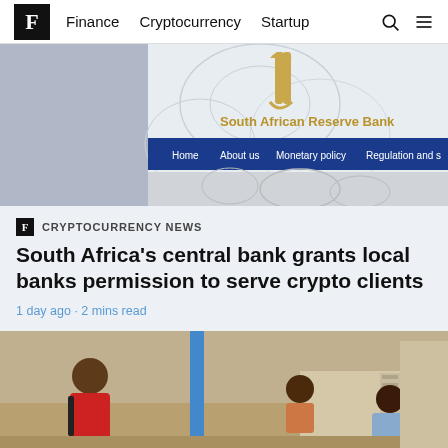F  Finance  Cryptocurrency  Startup
[Figure (screenshot): Screenshot of the South African Reserve Bank website showing logo, navigation bar with Home, About us, Monetary policy, Regulation and s... tabs]
F CRYPTOCURRENCY NEWS
South Africa's central bank grants local banks permission to serve crypto clients
1 day ago · 2 mins read
[Figure (photo): Photo of children playing outdoors in what appears to be a township setting in Africa]